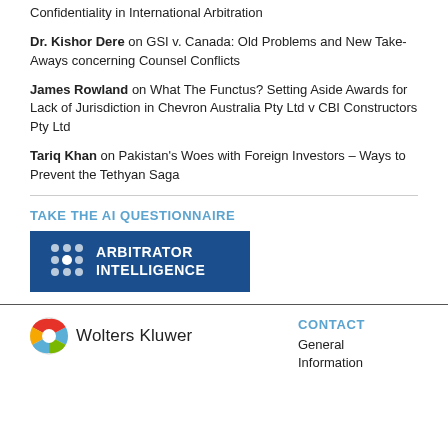Confidentiality in International Arbitration
Dr. Kishor Dere on GSI v. Canada: Old Problems and New Take-Aways concerning Counsel Conflicts
James Rowland on What The Functus? Setting Aside Awards for Lack of Jurisdiction in Chevron Australia Pty Ltd v CBI Constructors Pty Ltd
Tariq Khan on Pakistan's Woes with Foreign Investors – Ways to Prevent the Tethyan Saga
TAKE THE AI QUESTIONNAIRE
[Figure (logo): Arbitrator Intelligence logo — blue rectangle with dot-pattern icon and text ARBITRATOR INTELLIGENCE in white]
[Figure (logo): Wolters Kluwer logo — colorful circle icon with Wolters Kluwer text]
CONTACT
General Information